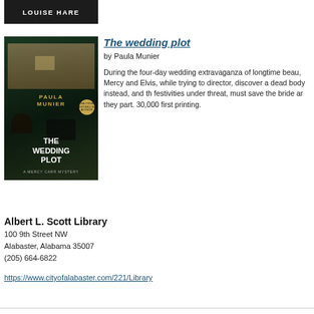[Figure (photo): Book cover image with author name LOUISE HARE on dark background]
[Figure (photo): Book cover of 'The Wedding Plot' by Paula Munier, showing a large house, dogs, and golden author name text on dark green background]
The wedding plot
by Paula Munier
During the four-day wedding extravaganza of longtime beau, Mercy and Elvis, while trying to director, discover a dead body instead, and th festivities under threat, must save the bride ar they part. 30,000 first printing.
Albert L. Scott Library
100 9th Street NW
Alabaster, Alabama 35007
(205) 664-6822
https://www.cityofalabaster.com/221/Library